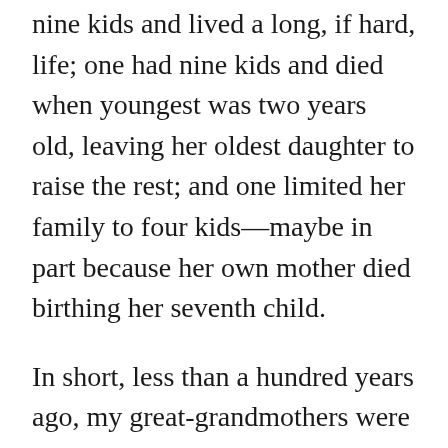nine kids and lived a long, if hard, life; one had nine kids and died when youngest was two years old, leaving her oldest daughter to raise the rest; and one limited her family to four kids—maybe in part because her own mother died birthing her seventh child.
In short, less than a hundred years ago, my great-grandmothers were not living all that differently from Beatrice. The babies just kept coming, and the work never stopped. It wasn't until my grandparents' and parents' generations that the babies slowed down. It was incredibly hard on the women, but it was